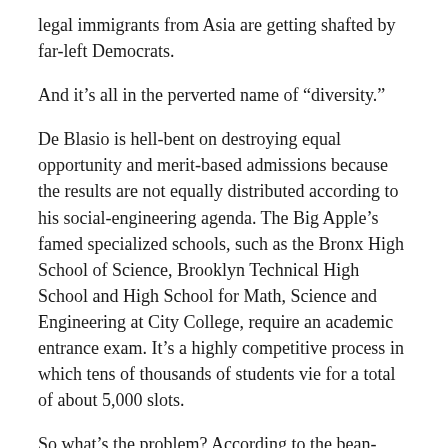legal immigrants from Asia are getting shafted by far-left Democrats.
And it’s all in the perverted name of “diversity.”
De Blasio is hell-bent on destroying equal opportunity and merit-based admissions because the results are not equally distributed according to his social-engineering agenda. The Big Apple’s famed specialized schools, such as the Bronx High School of Science, Brooklyn Technical High School and High School for Math, Science and Engineering at City College, require an academic entrance exam. It’s a highly competitive process in which tens of thousands of students vie for a total of about 5,000 slots.
So what’s the problem? According to the bean-counting extremists, too many Asian-Americans have aced the test and are “overrepresented.” It’s not enough for the social justice crowd to settle for a 20 percent minority set-aside.